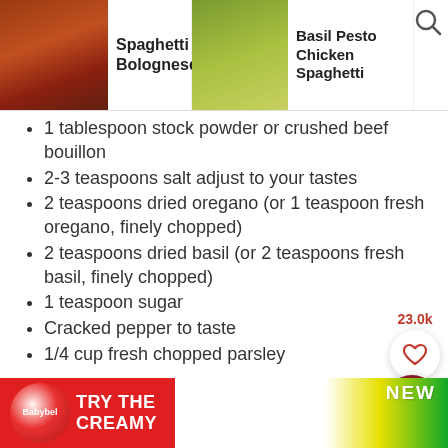[Figure (screenshot): Navigation bar with food recipe thumbnails: Spaghetti Bolognese, Basil Pesto Chicken Spaghetti, Spaghetti Squash Lasagna Bolognese, with a search icon]
1 tablespoon stock powder or crushed beef bouillon
2-3 teaspoons salt adjust to your tastes
2 teaspoons dried oregano (or 1 teaspoon fresh oregano, finely chopped)
2 teaspoons dried basil (or 2 teaspoons fresh basil, finely chopped)
1 teaspoon sugar
Cracked pepper to taste
1/4 cup fresh chopped parsley
To Serve:
17 ounces (500 g) dry pasta (spaghetti)
[Figure (photo): Babybel cheese advertisement banner: TRY THE CREAMY with NEW label]